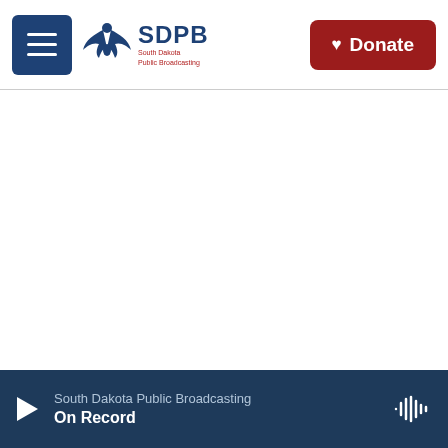SDPB South Dakota Public Broadcasting — Donate
[Figure (screenshot): SDPB South Dakota Public Broadcasting website header with menu button, logo, and Donate button]
South Dakota Public Broadcasting — On Record (audio player bar)